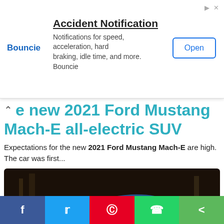[Figure (screenshot): Advertisement banner for 'Bouncie - Accident Notification' app. Shows Bouncie logo in blue, title 'Accident Notification', description text 'Notifications for speed, acceleration, hard braking, idle time, and more. Bouncie', and an 'Open' button on the right. Ad attribution icons in top right corner.]
e new 2021 Ford Mustang Mach-E all-electric SUV
Expectations for the new 2021 Ford Mustang Mach-E are high. The car was first...
[Figure (photo): Blue Ford Mustang Mach-E electric SUV driving at speed with motion blur in background. License plate reads VMT II0.]
Mercedes-Benz has just unveiled